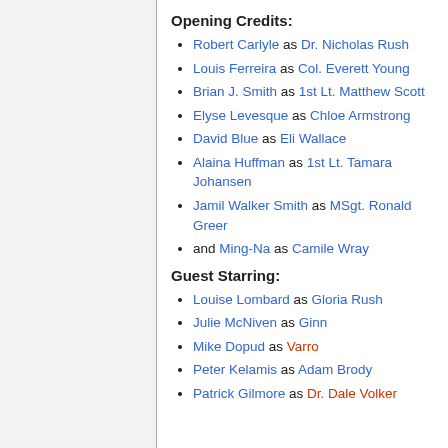Opening Credits:
Robert Carlyle as Dr. Nicholas Rush
Louis Ferreira as Col. Everett Young
Brian J. Smith as 1st Lt. Matthew Scott
Elyse Levesque as Chloe Armstrong
David Blue as Eli Wallace
Alaina Huffman as 1st Lt. Tamara Johansen
Jamil Walker Smith as MSgt. Ronald Greer
and Ming-Na as Camile Wray
Guest Starring:
Louise Lombard as Gloria Rush
Julie McNiven as Ginn
Mike Dopud as Varro
Peter Kelamis as Adam Brody
Patrick Gilmore as Dr. Dale Volker